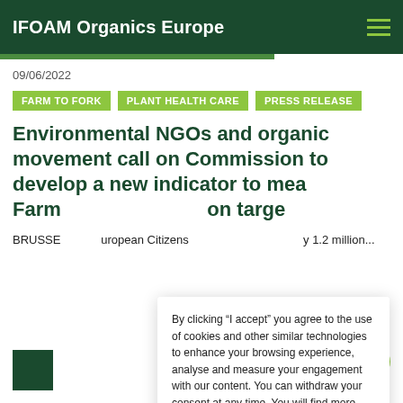IFOAM Organics Europe
09/06/2022
FARM TO FORK
PLANT HEALTH CARE
PRESS RELEASE
Environmental NGOs and organic movement call on Commission to develop a new indicator to measure the Farm to Fork reduction target
BRUSSE... European Citizens... y 1.2 million...
By clicking “I accept” you agree to the use of cookies and other similar technologies to enhance your browsing experience, analyse and measure your engagement with our content. You can withdraw your consent at any time. You will find more information here.